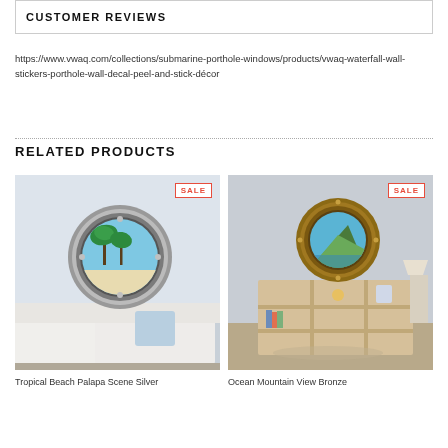CUSTOMER REVIEWS
https://www.vwaq.com/collections/submarine-porthole-windows/products/vwaq-waterfall-wall-stickers-porthole-wall-decal-peel-and-stick-décor
RELATED PRODUCTS
[Figure (photo): Product image of Tropical Beach Palapa Scene Silver porthole wall decal on white wall above sofa, with SALE badge]
Tropical Beach Palapa Scene Silver
[Figure (photo): Product image of Ocean Mountain View Bronze porthole wall decal on gray wall above shelving unit, with SALE badge]
Ocean Mountain View Bronze